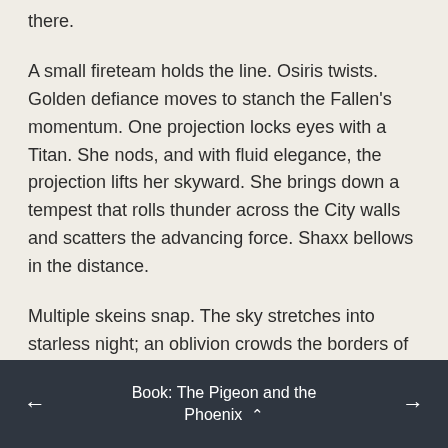there.
A small fireteam holds the line. Osiris twists. Golden defiance moves to stanch the Fallen's momentum. One projection locks eyes with a Titan. She nods, and with fluid elegance, the projection lifts her skyward. She brings down a tempest that rolls thunder across the City walls and scatters the advancing force. Shaxx bellows in the distance.
Multiple skeins snap. The sky stretches into starless night; an oblivion crowds the borders of Osiris's mind in suffocating omnipresence. The margins. Light thinly stretched. Under duress. Never enough.
Book: The Pigeon and the Phoenix